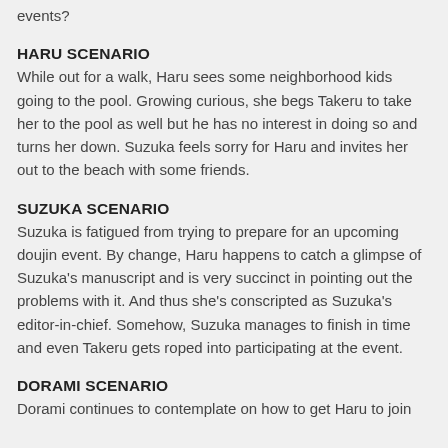events?
HARU SCENARIO
While out for a walk, Haru sees some neighborhood kids going to the pool. Growing curious, she begs Takeru to take her to the pool as well but he has no interest in doing so and turns her down. Suzuka feels sorry for Haru and invites her out to the beach with some friends.
SUZUKA SCENARIO
Suzuka is fatigued from trying to prepare for an upcoming doujin event. By change, Haru happens to catch a glimpse of Suzuka's manuscript and is very succinct in pointing out the problems with it. And thus she's conscripted as Suzuka's editor-in-chief. Somehow, Suzuka manages to finish in time and even Takeru gets roped into participating at the event.
DORAMI SCENARIO
Dorami continues to contemplate on how to get Haru to join